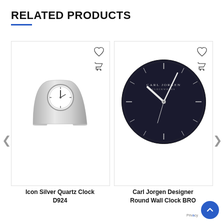RELATED PRODUCTS
[Figure (photo): Icon Silver Quartz Clock D924 - a modern silver arch-shaped desk clock with round clock face]
Icon Silver Quartz Clock D924
[Figure (photo): Carl Jorgen Designer Round Wall Clock BRO - a large round black wall clock with white hands and silver hour markers, Carl Jorgen branding at top]
Carl Jorgen Designer Round Wall Clock BRO